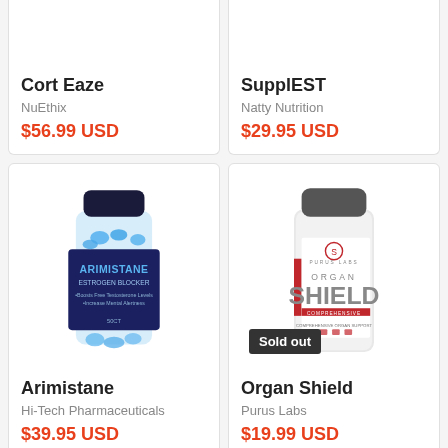Cort Eaze
NuEthix
$56.99 USD
SupplEST
Natty Nutrition
$29.95 USD
[Figure (photo): Bottle of Arimistane supplement by Hi-Tech Pharmaceuticals, blue capsules visible through clear jar with dark label]
Arimistane
Hi-Tech Pharmaceuticals
$39.95 USD
[Figure (photo): Bottle of Organ Shield supplement by Purus Labs, white bottle with red and grey label, Sold out badge]
Sold out
Organ Shield
Purus Labs
$19.99 USD
[Figure (photo): Partial view of a white supplement bottle, bottom of page]
[Figure (photo): Partial view of a white/silver supplement container, bottom of page]